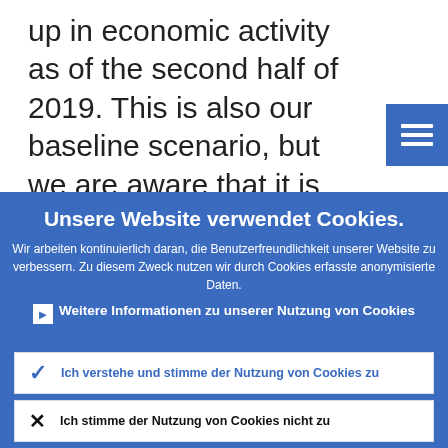up in economic activity as of the second half of 2019. This is also our baseline scenario, but we are aware that it is surrounded by a multitude of downside
Unsere Website verwendet Cookies.
Wir arbeiten kontinuierlich daran, die Benutzerfreundlichkeit unserer Website zu verbessern. Zu diesem Zweck nutzen wir durch Cookies erfasste anonymisierte Daten.
Weitere Informationen zu unserer Nutzung von Cookies
Ich verstehe und stimme der Nutzung von Cookies zu
Ich stimme der Nutzung von Cookies nicht zu